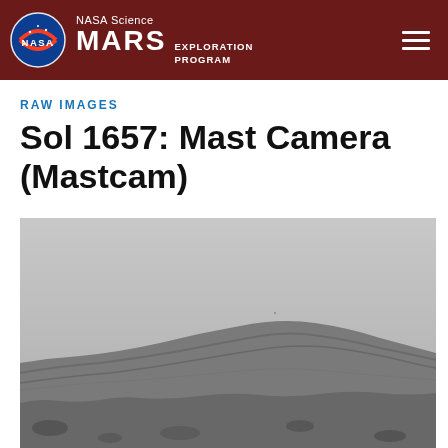NASA Science MARS EXPLORATION PROGRAM
RAW IMAGES
Sol 1657: Mast Camera (Mastcam)
[Figure (photo): Black and white raw image from NASA Curiosity rover Mastcam on Sol 1657, showing Martian hillside/rocky terrain with a hazy sky above.]